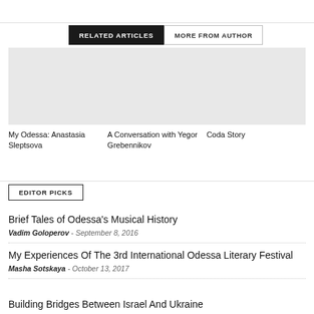RELATED ARTICLES    MORE FROM AUTHOR
[Figure (illustration): Three article thumbnail images in a row (gray placeholders)]
My Odessa: Anastasia Sleptsova
A Conversation with Yegor Grebennikov
Coda Story
EDITOR PICKS
Brief Tales of Odessa's Musical History
Vadim Goloperov  -  September 8, 2016
My Experiences Of The 3rd International Odessa Literary Festival
Masha Sotskaya  -  October 13, 2017
Building Bridges Between Israel And Ukraine